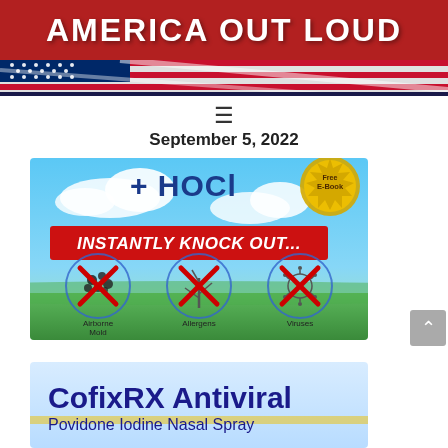AMERICA OUT LOUD
September 5, 2022
[Figure (illustration): Advertisement banner with sky background showing '+ HOCl' text, 'Instantly Knock Out...' headline, and three circular icons crossed out with red X marks labeled Airborne Mold, Allergens, and Viruses. Gold seal badge in top right corner saying 'Free E-Book'.]
[Figure (illustration): CofixRX Antiviral advertisement showing bold navy text 'CofixRX Antiviral' and smaller text 'Povidone Iodine Nasal Spray' on a light blue/yellow background.]